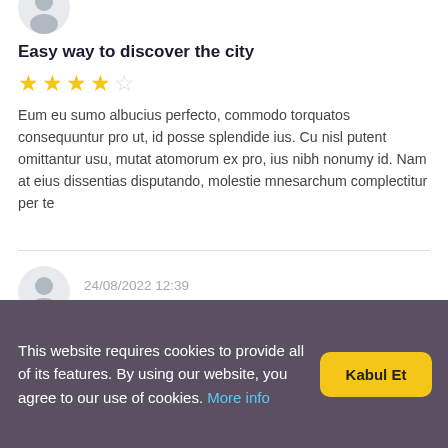[Figure (illustration): Partial grey circular user avatar icon at top]
Easy way to discover the city
[Figure (other): 4 out of 5 stars rating (4 filled gold stars, 1 empty star)]
Eum eu sumo albucius perfecto, commodo torquatos consequuntur pro ut, id posse splendide ius. Cu nisl putent omittantur usu, mutat atomorum ex pro, ius nibh nonumy id. Nam at eius dissentias disputando, molestie mnesarchum complectitur per te
[Figure (illustration): Grey circular user avatar icon]
24/08/2022 12:39
Great Trip
[Figure (other): Partial star rating row (5 filled gold stars visible, cut off)]
This website requires cookies to provide all of its features. By using our website, you agree to our use of cookies. More info